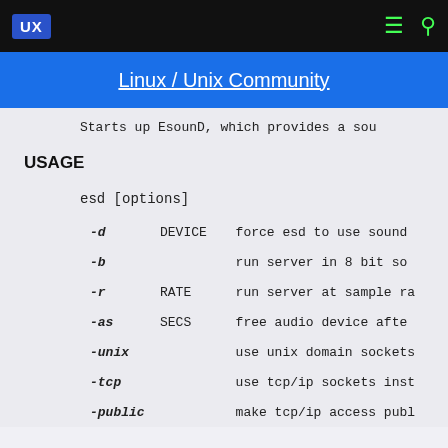UX | Linux / Unix Community
Starts up EsounD, which provides a sou
USAGE
esd [options]
| Option | Argument | Description |
| --- | --- | --- |
| -d | DEVICE | force esd to use sound |
| -b |  | run server in 8 bit so |
| -r | RATE | run server at sample ra |
| -as | SECS | free audio device afte |
| -unix |  | use unix domain sockets |
| -tcp |  | use tcp/ip sockets inst |
| -public |  | make tcp/ip access publ |